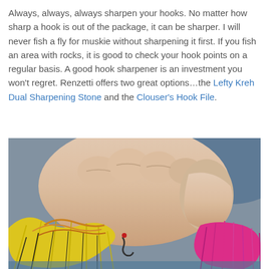Always, always, always sharpen your hooks. No matter how sharp a hook is out of the package, it can be sharper. I will never fish a fly for muskie without sharpening it first. If you fish an area with rocks, it is good to check your hook points on a regular basis. A good hook sharpener is an investment you won't regret. Renzetti offers two great options…the Lefty Kreh Dual Sharpening Stone and the Clouser's Hook File.
[Figure (photo): Close-up photo of a hand holding a colorful muskie fly (streamer) with yellow and pink feathers/fibers and a hook visible]